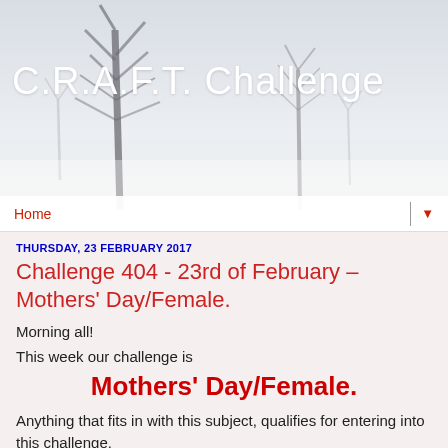[Figure (photo): Winter scene with bare frosted trees against a pale sky, used as a website header background image]
C.R.A.F.T. Challenge
Home ▼
THURSDAY, 23 FEBRUARY 2017
Challenge 404 - 23rd of February – Mothers' Day/Female.
Morning all!
This week our challenge is
Mothers' Day/Female.
Anything that fits in with this subject, qualifies for entering into this challenge.